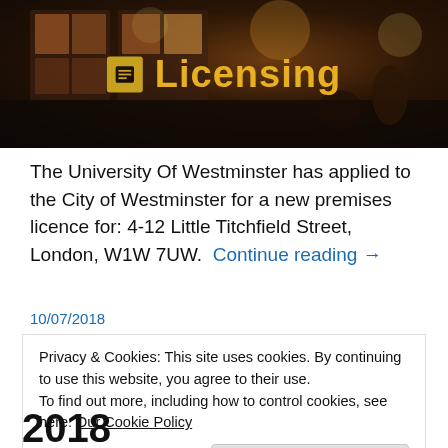[Figure (photo): Dark banner image of a restaurant or bar interior at night with warm lights, overlaid with a yellow icon and 'Licensing' text in yellow]
The University Of Westminster has applied to the City of Westminster for a new premises licence for: 4-12 Little Titchfield Street, London, W1W 7UW.  Continue reading →
10/07/2018
Privacy & Cookies: This site uses cookies. By continuing to use this website, you agree to their use.
To find out more, including how to control cookies, see here: Our Cookie Policy
Close and accept
2018